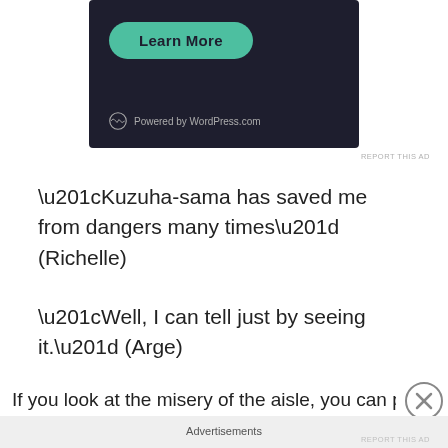[Figure (screenshot): Dark-themed ad banner with a teal 'Learn More' pill button and WordPress.com powered logo at the bottom]
REPORT THIS AD
“Kuzuha-sama has saved me from dangers many times” (Richelle)
“Well, I can tell just by seeing it.” (Arge)
If you look at the misery of the aisle, you can predict what
Advertisements
REPORT THIS AD